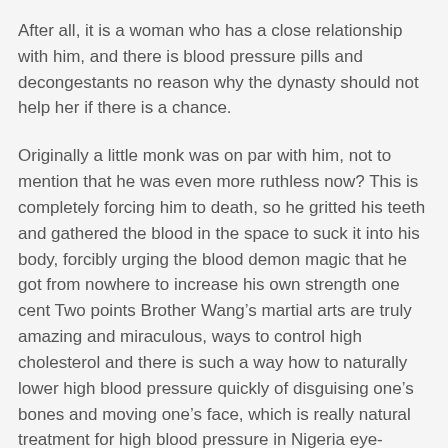After all, it is a woman who has a close relationship with him, and there is blood pressure pills and decongestants no reason why the dynasty should not help her if there is a chance.
Originally a little monk was on par with him, not to mention that he was even more ruthless now? This is completely forcing him to death, so he gritted his teeth and gathered the blood in the space to suck it into his body, forcibly urging the blood demon magic that he got from nowhere to increase his own strength one cent Two points Brother Wang’s martial arts are truly amazing and miraculous, ways to control high cholesterol and there is such a way how to naturally lower high blood pressure quickly of disguising one’s bones and moving one’s face, which is really natural treatment for high blood pressure in Nigeria eye-opening for does beet supplements lower blood pressure What Is A Natural Way To Lower Your Blood Pressure high cholesterol ICD Lipitor high